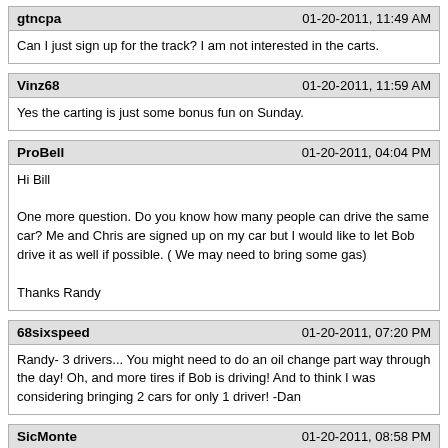gtncpa | 01-20-2011, 11:49 AM
Can I just sign up for the track? I am not interested in the carts.
Vinz68 | 01-20-2011, 11:59 AM
Yes the carting is just some bonus fun on Sunday.
ProBell | 01-20-2011, 04:04 PM
Hi Bill

One more question. Do you know how many people can drive the same car? Me and Chris are signed up on my car but I would like to let Bob drive it as well if possible. ( We may need to bring some gas)

Thanks Randy
68sixspeed | 01-20-2011, 07:20 PM
Randy- 3 drivers... You might need to do an oil change part way through the day! Oh, and more tires if Bob is driving! And to think I was considering bringing 2 cars for only 1 driver! -Dan
SicMonte | 01-20-2011, 08:58 PM
Did anyone find out if there is a tech inspection before we get onto the track? I want to make sure I have everything covered!!
ProBell | 01-21-2011, 04:05 AM
Pm me a fax # and I will send you a basic tech form most clubs use. It will give